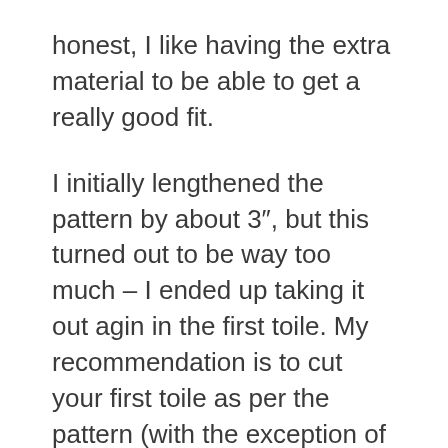honest, I like having the extra material to be able to get a really good fit.
I initially lengthened the pattern by about 3″, but this turned out to be way too much – I ended up taking it out agin in the first toile. My recommendation is to cut your first toile as per the pattern (with the exception of the center front panel), mod the leg holes and crotch, plus any major size adjustments you want to make now, and try it on. You’ll definitely be wanting to adjust further from there, but this method has worked for everyone I’ve helped fit